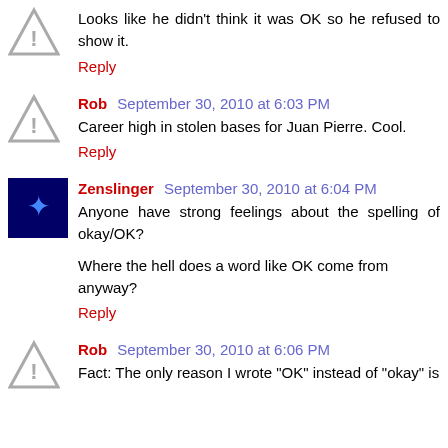Looks like he didn't think it was OK so he refused to show it.
Reply
Rob September 30, 2010 at 6:03 PM
Career high in stolen bases for Juan Pierre. Cool.
Reply
Zenslinger September 30, 2010 at 6:04 PM
Anyone have strong feelings about the spelling of okay/OK?
Where the hell does a word like OK come from anyway?
Reply
Rob September 30, 2010 at 6:06 PM
Fact: The only reason I wrote "OK" instead of "okay" is...